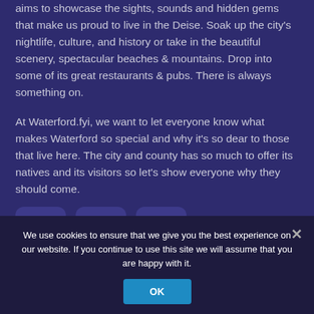aims to showcase the sights, sounds and hidden gems that make us proud to live in the Deise. Soak up the city's nightlife, culture, and history or take in the beautiful scenery, spectacular beaches & mountains. Drop into some of its great restaurants & pubs. There is always something on.
At Waterford.fyi, we want to let everyone know what makes Waterford so special and why it's so dear to those that live here. The city and county has so much to offer its natives and its visitors so let's show everyone why they should come.
[Figure (infographic): Three social media icon buttons: Instagram, Facebook, YouTube — rounded square buttons on purple background]
We use cookies to ensure that we give you the best experience on our website. If you continue to use this site we will assume that you are happy with it.